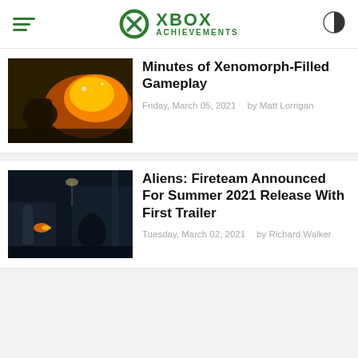Xbox Achievements
[Figure (screenshot): Thumbnail image showing explosive combat scene with fire and xenomorph creatures]
Minutes of Xenomorph-Filled Gameplay
Friday, March 05, 2021   by Matt Lorrigan
[Figure (screenshot): Thumbnail image showing dark sci-fi combat scene with characters fighting aliens]
Aliens: Fireteam Announced For Summer 2021 Release With First Trailer
Tuesday, March 02, 2021   by Richard Walker